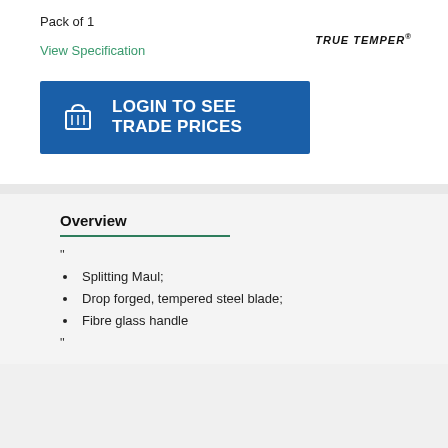Pack of 1
View Specification
[Figure (logo): True Temper logo in bold italic uppercase text]
[Figure (infographic): Blue button with basket icon and text LOGIN TO SEE TRADE PRICES]
Overview
"
Splitting Maul;
Drop forged, tempered steel blade;
Fibre glass handle
"